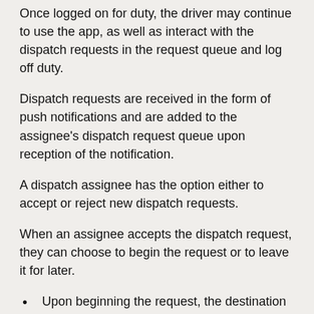Once logged on for duty, the driver may continue to use the app, as well as interact with the dispatch requests in the request queue and log off duty.
Dispatch requests are received in the form of push notifications and are added to the assignee's dispatch request queue upon reception of the notification.
A dispatch assignee has the option either to accept or reject new dispatch requests.
When an assignee accepts the dispatch request, they can choose to begin the request or to leave it for later.
Upon beginning the request, the destination location is opened on the user's native navigation application (i.e. Google Maps or Apple Maps). The user can then start navigating to that location.
If the request is left for later, the assignee will have options to begin the request or to reject it